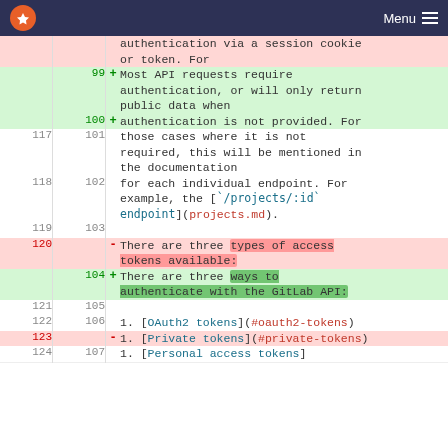Menu
| old | new | sign | code |
| --- | --- | --- | --- |
|  |  |  | authentication via a session cookie or token. For |
| 99 |  | + | Most API requests require authentication, or will only return public data when |
|  | 100 | + | authentication is not provided. For |
| 117 | 101 |  | those cases where it is not required, this will be mentioned in the documentation |
| 118 | 102 |  | for each individual endpoint. For example, the [`/projects/:id` endpoint](projects.md). |
| 119 | 103 |  |  |
| 120 |  | - | There are three types of access tokens available: |
|  | 104 | + | There are three ways to authenticate with the GitLab API: |
| 121 | 105 |  |  |
| 122 | 106 |  | 1. [OAuth2 tokens](#oauth2-tokens) |
| 123 |  | - | 1. [Private tokens](#private-tokens) |
| 124 | 107 |  | 1. [Personal access tokens] |